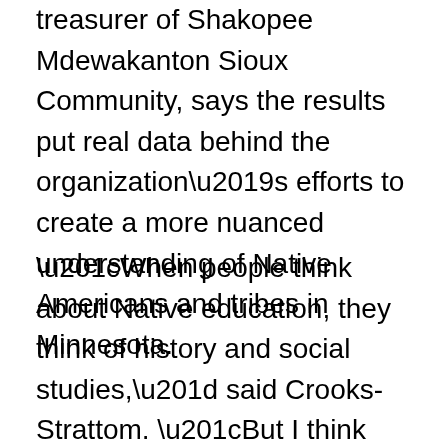treasurer of Shakopee Mdewakanton Sioux Community, says the results put real data behind the organization's efforts to create a more nuanced understanding of Native Americans and tribes in Minnesota.
“When people think about Native education, they think of history and social studies,” said Crooks-Strattom. “But I think there’s room for Native education in civics courses, in science courses.”